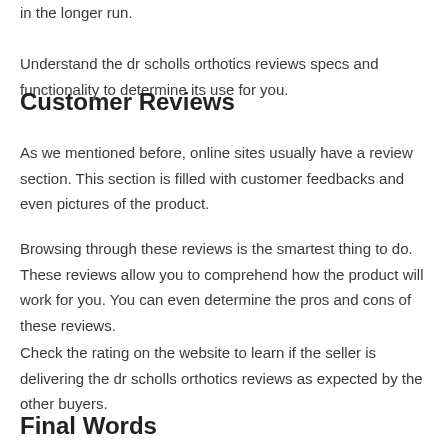in the longer run.
Understand the dr scholls orthotics reviews specs and functionality to determine its use for you.
Customer Reviews
As we mentioned before, online sites usually have a review section. This section is filled with customer feedbacks and even pictures of the product.
Browsing through these reviews is the smartest thing to do. These reviews allow you to comprehend how the product will work for you. You can even determine the pros and cons of these reviews.
Check the rating on the website to learn if the seller is delivering the dr scholls orthotics reviews as expected by the other buyers.
Final Words